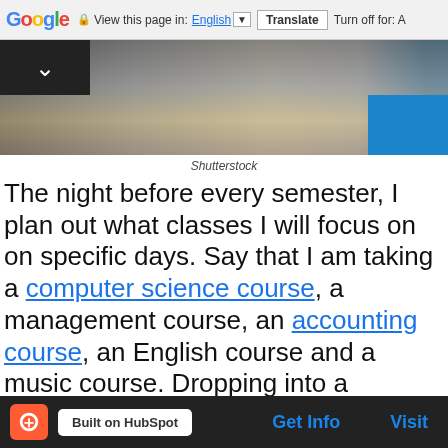Google | View this page in: English | Translate | Turn off for: A
[Figure (photo): Header photo of a desk with coffee cup and study materials, with dark overlay on left and blue on right]
Shutterstock
The night before every semester, I plan out what classes I will focus on on specific days. Say that I am taking a computer science course, a management course, an accounting course, an English course and a music course. Dropping into a bombardment of five classes on the first day of school can (and will) be overwhelming. But, during the night before, if you schedule each class to be designated to a specific set of days, then your task list will be more manageable. Find freedom from stress by scheduling your first week of school the night before.
Built on HubSpot | Get Info | Visit